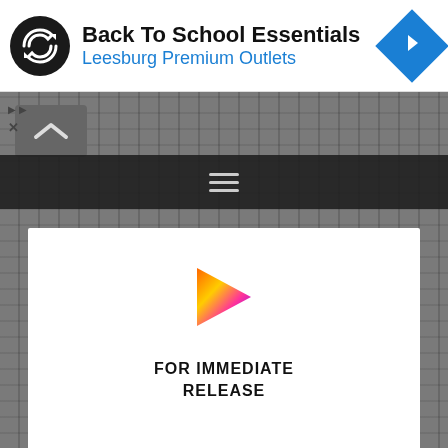[Figure (screenshot): Advertisement banner with circular black logo containing a double-arrow infinity symbol, text 'Back To School Essentials' and 'Leesburg Premium Outlets', and a blue diamond navigation icon on the right]
Back To School Essentials
Leesburg Premium Outlets
[Figure (screenshot): Website screenshot with dark city skyline background, grey chevron up-arrow button, dark navigation bar with hamburger menu icon, and white content card with colorful play-button logo and text 'FOR IMMEDIATE RELEASE']
FOR IMMEDIATE RELEASE